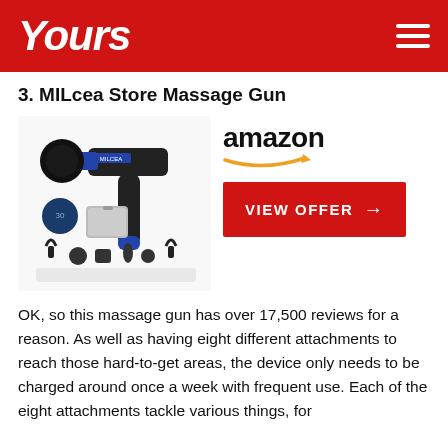Yours
3. MILcea Store Massage Gun
[Figure (photo): MILcea Store Massage Gun product image showing the device with multiple attachments and carrying case, alongside Amazon logo and VIEW OFFER button]
OK, so this massage gun has over 17,500 reviews for a reason. As well as having eight different attachments to reach those hard-to-get areas, the device only needs to be charged around once a week with frequent use. Each of the eight attachments tackle various things, for